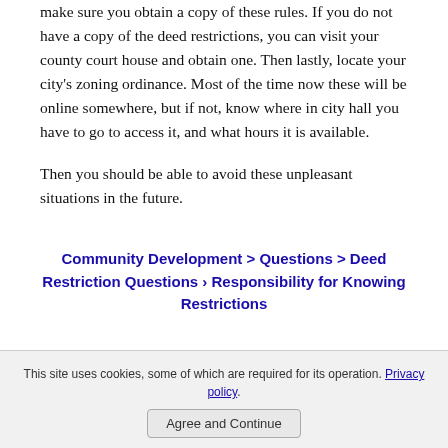make sure you obtain a copy of these rules. If you do not have a copy of the deed restrictions, you can visit your county court house and obtain one. Then lastly, locate your city's zoning ordinance. Most of the time now these will be online somewhere, but if not, know where in city hall you have to go to access it, and what hours it is available.
Then you should be able to avoid these unpleasant situations in the future.
Community Development > Questions > Deed Restriction Questions › Responsibility for Knowing Restrictions
This site uses cookies, some of which are required for its operation. Privacy policy. Agree and Continue